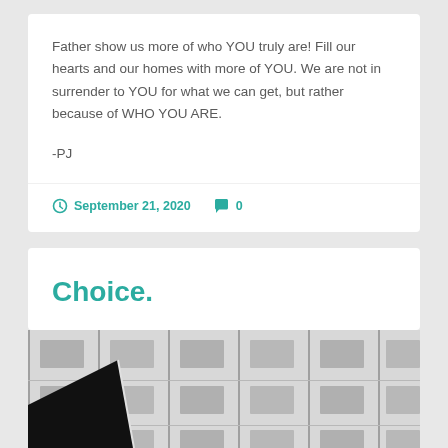Father show us more of who YOU truly are! Fill our hearts and our homes with more of YOU. We are not in surrender to YOU for what we can get, but rather because of WHO YOU ARE.
-PJ
September 21, 2020  0
Choice.
[Figure (photo): Black and white photo of a building facade with grid-like windows, a dark angled sign or structure visible in the lower left corner]